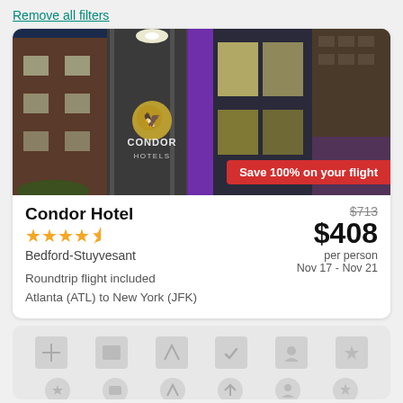Remove all filters
[Figure (photo): Nighttime exterior photo of Condor Hotel building with illuminated signage showing the Condor Hotels logo and name, with brick and metallic facade. Red badge overlay reads 'Save 100% on your flight'.]
Condor Hotel
★★★★½
Bedford-Stuyvesant
$713 (strikethrough) $408 per person Nov 17 - Nov 21
Roundtrip flight included
Atlanta (ATL) to New York (JFK)